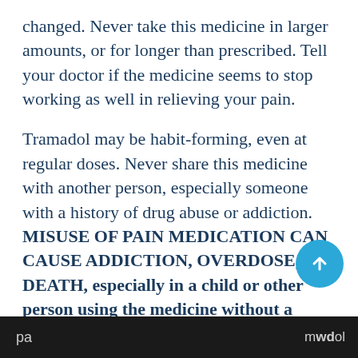changed. Never take this medicine in larger amounts, or for longer than prescribed. Tell your doctor if the medicine seems to stop working as well in relieving your pain.
Tramadol may be habit-forming, even at regular doses. Never share this medicine with another person, especially someone with a history of drug abuse or addiction. MISUSE OF PAIN MEDICATION CAN CAUSE ADDICTION, OVERDOSE, OR DEATH, especially in a child or other person using the medicine without a prescription. Selling or giving away this medicine is against the law.
Stop taking all other around-the-clock narcotic pa...
pa   mrdol